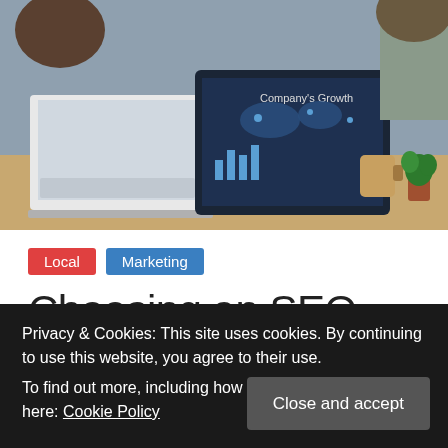[Figure (photo): Office scene with people working at a desk with laptops; a tablet screen showing 'Company's Growth' with a world map chart is visible in the center.]
Local
Marketing
Choosing an SEO Company
May 14, 2019   Editor
Hiring professional SEO services is one of the best ways
Privacy & Cookies: This site uses cookies. By continuing to use this website, you agree to their use.
To find out more, including how to control cookies, see here: Cookie Policy
Close and accept